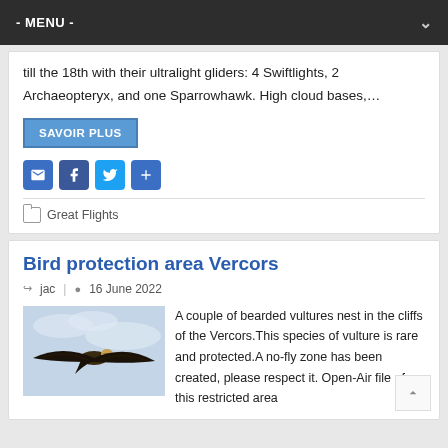- MENU -
till the 18th with their ultralight gliders: 4 Swiftlights, 2 Archaeopteryx, and one Sparrowhawk. High cloud bases,…
SAVOIR PLUS
Great Flights
Bird protection area Vercors
jac  |  16 June 2022
[Figure (photo): A bird (bearded vulture) soaring in flight against a cloudy sky, photographed from below showing wingspan.]
A couple of bearded vultures nest in the cliffs of the Vercors.This species of vulture is rare and protected.A no-fly zone has been created, please respect it. Open-Air file of this restricted area